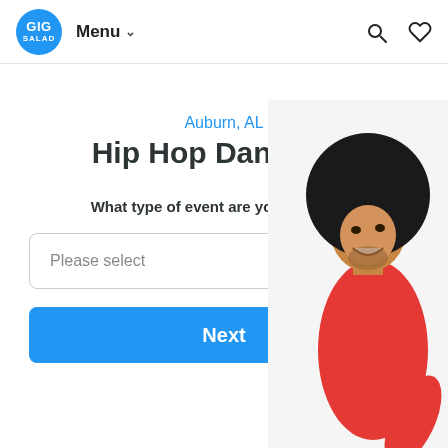GIG SALAD | Menu | [search icon] [heart icon]
Auburn, AL
Hip Hop Dancers
What type of event are you planning?
Please select
Next
[Figure (photo): A man with a large afro hairstyle wearing a red outfit, laughing and dancing, shown from about mid-torso up with his body turned to the right side of the image.]